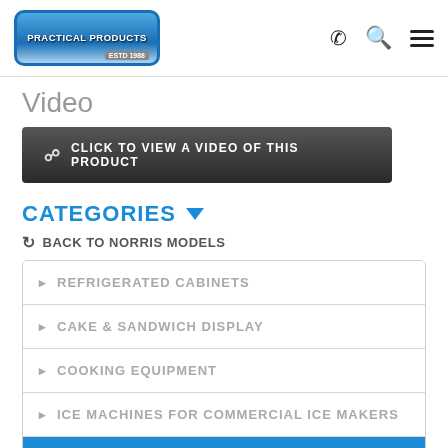Practical Products ESTD 1988 — navigation bar with phone, search, and menu icons
Video
CLICK TO VIEW A VIDEO OF THIS PRODUCT
CATEGORIES
BACK TO NORRIS MODELS
REFRIGERATED CABINETS
CAKE & SANDWICH DISPLAY
COOKING EQUIPMENT
ICE MACHINES FOR COMMERCIAL ICE MAKERS
WARE WASHING
UNDER BENCH DISHWASHERS